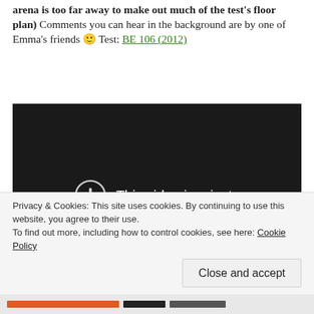arena is too far away to make out much of the test's floor plan) Comments you can hear in the background are by one of Emma's friends 🙂 Test: BE 106 (2012)
[Figure (screenshot): Embedded video player showing 'This video is private' message with exclamation circle icon on dark background. A play/close button overlay appears in bottom right corner.]
Privacy & Cookies: This site uses cookies. By continuing to use this website, you agree to their use.
To find out more, including how to control cookies, see here: Cookie Policy
Close and accept